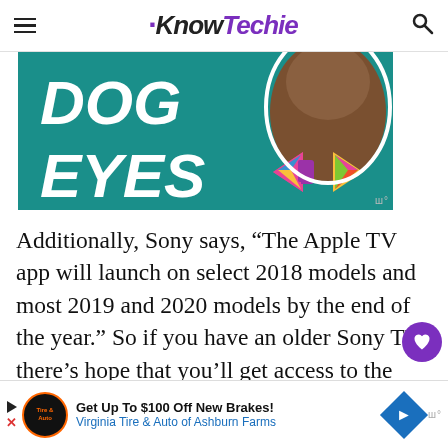KnowTechie
[Figure (illustration): Advertisement banner showing a dog wearing a colorful bow tie on a teal background with bold white text reading 'DOG EYES']
Additionally, Sony says, “The Apple TV app will launch on select 2018 models and most 2019 and 2020 models by the end of the year.” So if you have an older Sony TV, there’s hope that you’ll get access to the app very soon.
[Figure (other): Bottom advertisement banner: Get Up To $100 Off New Brakes! Virginia Tire & Auto of Ashburn Farms]